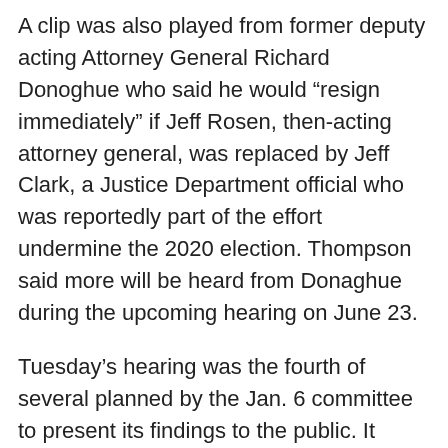A clip was also played from former deputy acting Attorney General Richard Donoghue who said he would "resign immediately" if Jeff Rosen, then-acting attorney general, was replaced by Jeff Clark, a Justice Department official who was reportedly part of the effort undermine the 2020 election. Thompson said more will be heard from Donaghue during the upcoming hearing on June 23.
Tuesday's hearing was the fourth of several planned by the Jan. 6 committee to present its findings to the public. It focused on Trump's efforts to pressure state legislators and local election officials to change the results of the 2020 presidential election. In the year since its creation, the committee has conducted more than 1,000 interviews, seeking critical information and documents from people witness to, or involved in, the violence that day.